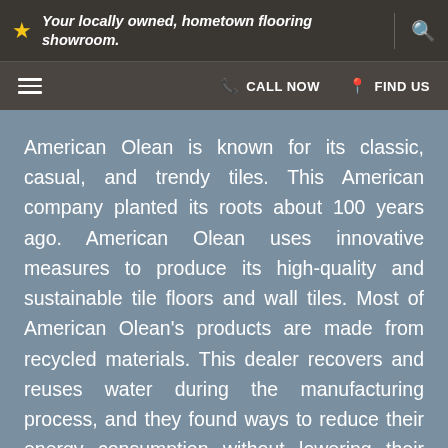Your locally owned, hometown flooring showroom.
American Olean is known for its classic, casual, and trendy tiles. This American company planted its roots about 100 years ago. American Olean uses innovative measures to produce its high-quality and sustainable tile floors and wall tiles. Most of American Olean's products are made from recycled materials. This dealer recovers and reuses water during the manufacturing process, and they found ways to reduce their energy consumption without lowering their tile's quality.